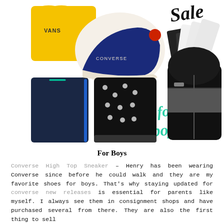[Figure (photo): Collage of boys clothing and shoe items on sale: yellow Vans t-shirt, navy blue Converse high top sneaker, black and white socks bundle, dark navy jogger pants with teal drawstring, black and white patterned pajama set, North Face black puffer jacket with gray panels. 'Sale' text in black script top right and 'for boys' in teal script in center right.]
For Boys
Converse High Top Sneaker – Henry has been wearing Converse since before he could walk and they are my favorite shoes for boys. That's why staying updated for converse new releases is essential for parents like myself. I always see them in consignment shops and have purchased several from there. They are also the first thing to sell